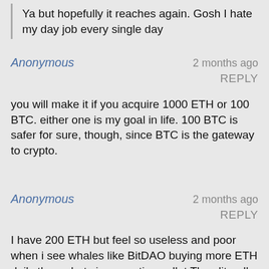Ya but hopefully it reaches again. Gosh I hate my day job every single day
Anonymous  2 months ago  REPLY
you will make it if you acquire 1000 ETH or 100 BTC. either one is my goal in life. 100 BTC is safer for sure, though, since BTC is the gateway to crypto.
Anonymous  2 months ago  REPLY
I have 200 ETH but feel so useless and poor when i see whales like BitDAO buying more ETH daily than whats in my entire wallet They literally have more than 200,000 ETH